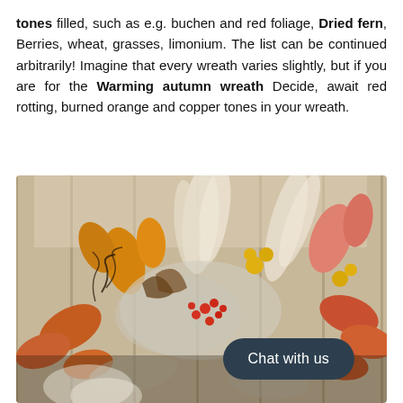tones filled, such as e.g. Buchen and red foliage, Dried fern, Berries, wheat, grasses, limonium. The list can be continued arbitrarily! Imagine that every wreath varies slightly, but if you are for the Warming autumn wreath Decide, await red rotting, burned orange and copper tones in your wreath.
[Figure (photo): Close-up photograph of an autumn decorative wreath with dried flowers, orange and rust-colored leaves, pampas grass, yellow flowers, red berries, and various dried botanicals arranged against a wooden background. A dark rounded 'Chat with us' button overlay appears in the bottom right.]